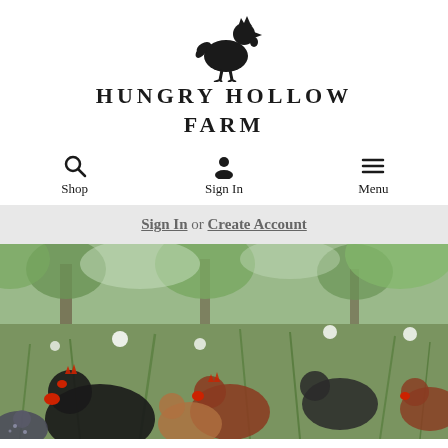[Figure (logo): Hungry Hollow Farm logo with chicken silhouette icon above the brand name]
HUNGRY HOLLOW
FARM
Shop | Sign In | Menu navigation bar
Sign In or Create Account
[Figure (photo): Outdoor photo of a flock of chickens in a grassy field with dandelions and trees in the background]